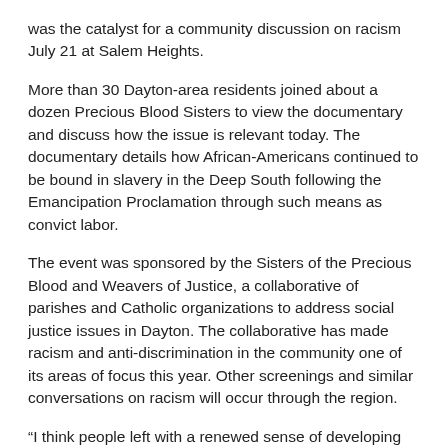was the catalyst for a community discussion on racism July 21 at Salem Heights.
More than 30 Dayton-area residents joined about a dozen Precious Blood Sisters to view the documentary and discuss how the issue is relevant today. The documentary details how African-Americans continued to be bound in slavery in the Deep South following the Emancipation Proclamation through such means as convict labor.
The event was sponsored by the Sisters of the Precious Blood and Weavers of Justice, a collaborative of parishes and Catholic organizations to address social justice issues in Dayton. The collaborative has made racism and anti-discrimination in the community one of its areas of focus this year. Other screenings and similar conversations on racism will occur through the region.
“I think people left with a renewed sense of developing good relations and taking some action on the issue of racism,” said Pam Long, regional director of the Catholic Social Action Office of the Archdiocese of Cincinnati.